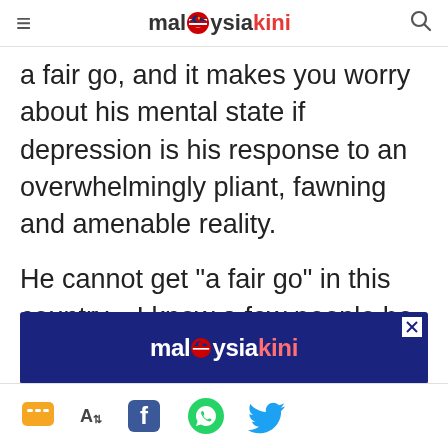malaysiakini
a fair go, and it makes you worry about his mental state if depression is his response to an overwhelmingly pliant, fawning and amenable reality.
He cannot get "a fair go" in this country... I know a few people he might usefully ask about the real experience of "having the deck stacked against you" in Malaysia.
[Figure (logo): Malaysiakini advertisement banner with dark blue background and malaysiakini logo in white/red]
Social sharing icons: comments, font size, Facebook, WhatsApp, Twitter